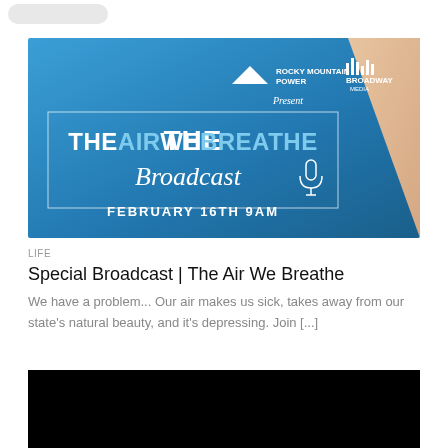[Figure (illustration): Banner graphic for 'The Air We Breathe Broadcast' event. Blue gradient background with Rocky Mountain Power and Broadway Media logos at top. Large white and blue text reading 'THE AIR WE BREATHE' and italic 'Broadcast' with microphone icon. Bottom text reads 'FEBRUARY 16TH 9AM'. Right side shows a cropped flesh-tone triangular shape.]
LIFE
Special Broadcast | The Air We Breathe
We have a problem... Our air makes us sick, takes away from our state's natural beauty, and it's depressing. Join [...]
[Figure (screenshot): Black rectangle representing a video or media player area at bottom of page.]